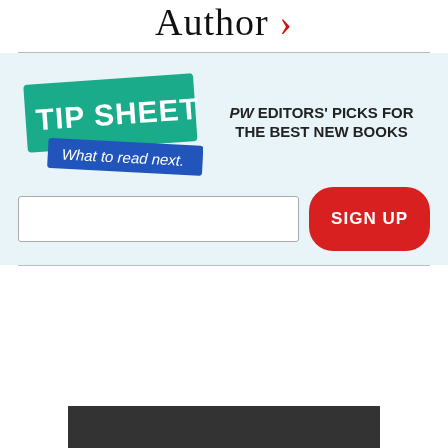Author >
[Figure (infographic): Tip Sheet newsletter signup box with teal 'TIP SHEET' logo, blue banner reading 'What to read next.', text 'PW EDITORS' PICKS FOR THE BEST NEW BOOKS', an email input field, and a red 'SIGN UP' button]
[Figure (photo): Dark gray/charcoal rectangular block at bottom of page]